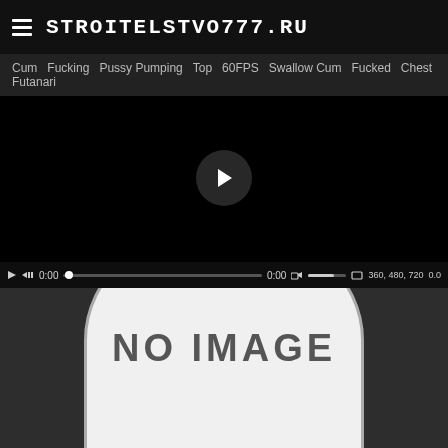STROITELSTVO777.RU
Cum  Fucking  Pussy Pumping  Top  60FPS  Swallow Cum  Fucked  Chest  Futanari
[Figure (screenshot): Video player with black background and play button, showing controls: play, rewind, 0:00 timestamp, progress bar, 0:00, volume, fullscreen, 360/480/720 quality options, 0.0]
[Figure (photo): No image placeholder with white rounded rectangle on dark background showing 'NO IMAGE' text]